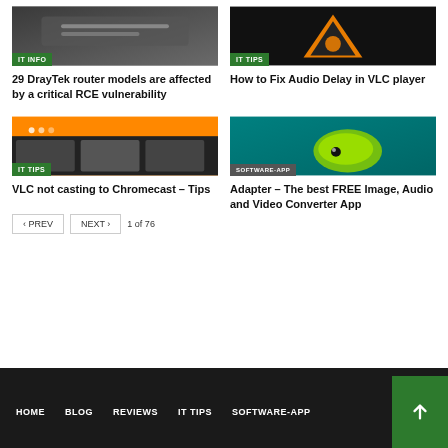[Figure (screenshot): DrayTek router image with IT INFO badge]
29 DrayTek router models are affected by a critical RCE vulnerability
[Figure (screenshot): VLC player logo image with IT TIPS badge]
How to Fix Audio Delay in VLC player
[Figure (screenshot): VLC mobile app screenshot with IT TIPS badge]
VLC not casting to Chromecast – Tips
[Figure (screenshot): Adapter app logo image with SOFTWARE-APP badge]
Adapter – The best FREE Image, Audio and Video Converter App
HOME  BLOG  REVIEWS  IT TIPS  SOFTWARE-APP